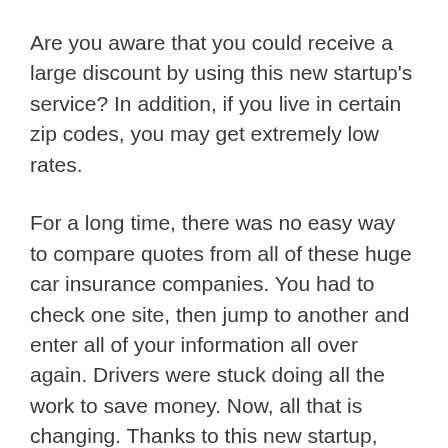Are you aware that you could receive a large discount by using this new startup's service? In addition, if you live in certain zip codes, you may get extremely low rates.
For a long time, there was no easy way to compare quotes from all of these huge car insurance companies. You had to check one site, then jump to another and enter all of your information all over again. Drivers were stuck doing all the work to save money. Now, all that is changing. Thanks to this new startup, EverQuote™, the information you need to help you save can be found in one place. EverQuote™ is not an insurer, but a comparison shopping marketplace.